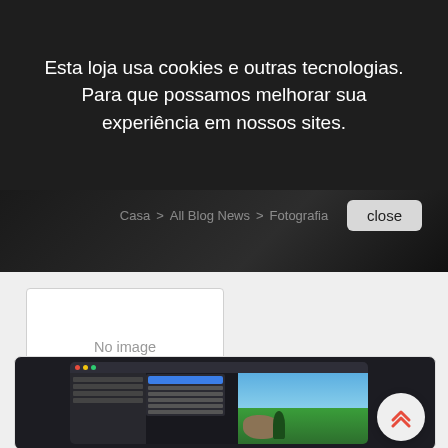Esta loja usa cookies e outras tecnologias. Para que possamos melhorar sua experiência em nossos sites.
Casa > All Blog News > Fotografia
close
[Figure (screenshot): No image available placeholder box with white background and gray border]
[Figure (screenshot): macOS photo application window showing a menu open with blue highlighted item and a landscape photo with rocks, ocean, and palm trees. A red double-chevron scroll-to-top button is visible on the right.]